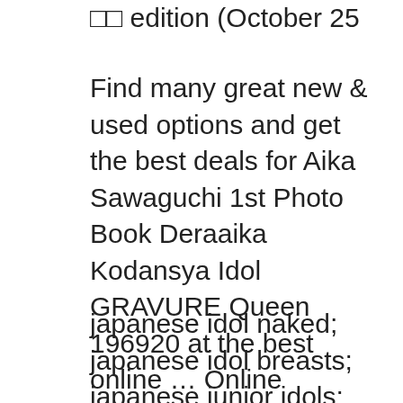□□ edition (October 25
Find many great new & used options and get the best deals for Aika Sawaguchi 1st Photo Book Deraaika Kodansya Idol GRAVURE Queen 196920 at the best online ... Online shopping from a great selection at Books Store. JAPANESE AV IDOL :: KOHARU SUZUKI 1st. Photo book [ Haru no me ] □□□□1st. □□□ □□□□ Limited Luxury Edition only 3,000 copies published□ [JAPANESE ADULT BOOK]
japanese idol naked; japanese idol breasts; japanese junior idols; teens idol; chizuru ikewaki; jp idol; japan jr idol; photobook idol; japanese av stars;